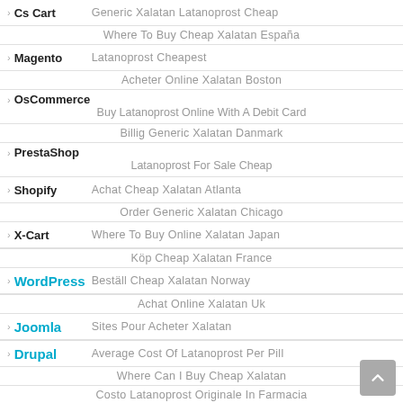Cs Cart — Generic Xalatan Latanoprost Cheap
Where To Buy Cheap Xalatan España
Magento — Latanoprost Cheapest
Acheter Online Xalatan Boston
OsCommerce — Buy Latanoprost Online With A Debit Card
Billig Generic Xalatan Danmark
PrestaShop — Latanoprost For Sale Cheap
Shopify — Achat Cheap Xalatan Atlanta
Order Generic Xalatan Chicago
X-Cart — Where To Buy Online Xalatan Japan
Köp Cheap Xalatan France
WordPress — Beställ Cheap Xalatan Norway
Achat Online Xalatan Uk
Joomla — Sites Pour Acheter Xalatan
Drupal — Average Cost Of Latanoprost Per Pill
Where Can I Buy Cheap Xalatan
Costo Latanoprost Originale In Farmacia
Cart — Cheap Xalatan Web
Costo Xalatan One Day